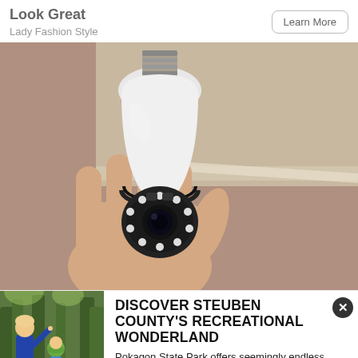Look Great
Lady Fashion Style
Learn More
[Figure (photo): A hand holding a white light bulb-shaped security camera with multiple LED lights and a lens on the front, against a blurred wooden shelf background.]
[Figure (photo): A woman and a child wearing a helmet in an outdoor wooded setting, appearing to enjoy recreational activities.]
DISCOVER STEUBEN COUNTY'S RECREATIONAL WONDERLAND
Pokagon State Park offers seemingly endless outdoor adventures.